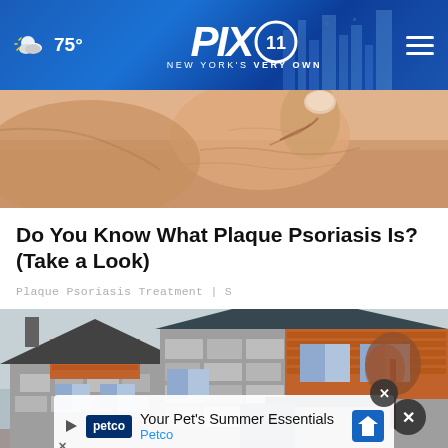PIX11 · NEW YORK'S VERY OWN · 75°
[Figure (photo): Close-up photo of human skin showing a hand/thumb area, depicting plaque psoriasis condition]
Do You Know What Plaque Psoriasis Is? (Take a Look)
Plaque Psoriasis Treatment | S
[Figure (photo): Photo of a modern two-story house with stone and wood siding, dark roof, multiple windows, and autumn trees in background]
[Figure (other): Petco advertisement banner: Your Pet's Summer Essentials - Petco, with Petco logo and navigation arrow icon]